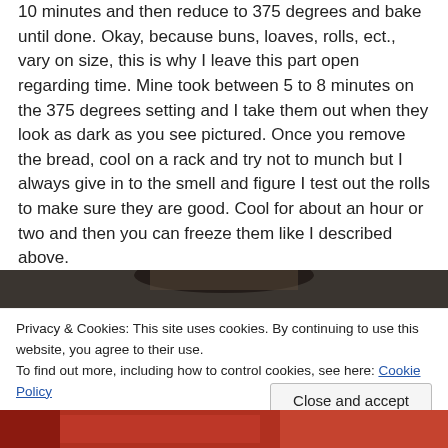10 minutes and then reduce to 375 degrees and bake until done. Okay, because buns, loaves, rolls, ect., vary on size, this is why I leave this part open regarding time. Mine took between 5 to 8 minutes on the 375 degrees setting and I take them out when they look as dark as you see pictured. Once you remove the bread, cool on a rack and try not to munch but I always give in to the smell and figure I test out the rolls to make sure they are good. Cool for about an hour or two and then you can freeze them like I described above.
[Figure (photo): Dark-colored bread or baked goods, top portion visible]
Privacy & Cookies: This site uses cookies. By continuing to use this website, you agree to their use.
To find out more, including how to control cookies, see here: Cookie Policy
[Figure (photo): Bottom photo strip showing red colored baked goods]